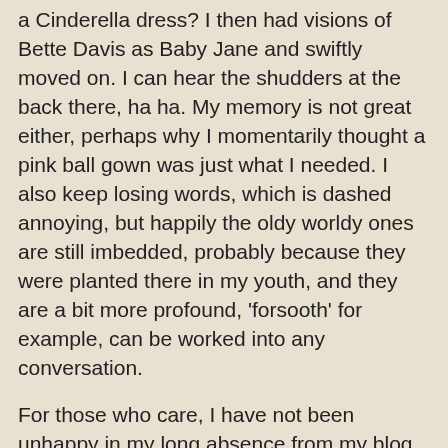a Cinderella dress?  I then had visions of Bette Davis as Baby Jane and swiftly moved on.  I can hear the shudders at the back there, ha ha.  My memory is not great either, perhaps why I momentarily thought a pink ball gown was just what I needed. I also keep losing words, which is dashed annoying, but happily the oldy worldy ones are still imbedded, probably because they were planted there in my youth, and they are a bit more profound, 'forsooth' for example, can be worked into any conversation.
For those who care, I have not been unhappy in my long absence from my blog.  This was the first time in my adult life that I haven't been obsessed with writing.  Naturally I went through all the 'tortured artiste, writer's block stuff - writers can think up all sorts of ways in which to torment themselves, I'm an A* at it.  But eventually that particular cloud lifted, I stopped caring that I couldn't write, I started to enjoy other things, binge watching, especially, oh the joy of